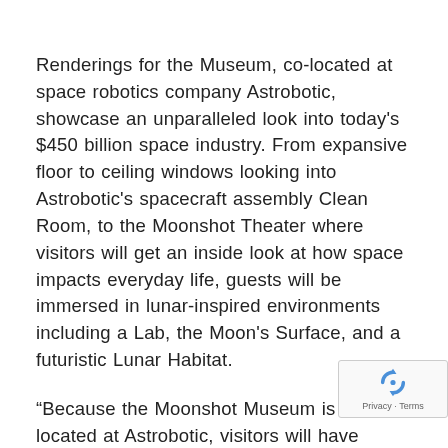Renderings for the Museum, co-located at space robotics company Astrobotic, showcase an unparalleled look into today's $450 billion space industry. From expansive floor to ceiling windows looking into Astrobotic's spacecraft assembly Clean Room, to the Moonshot Theater where visitors will get an inside look at how space impacts everyday life, guests will be immersed in lunar-inspired environments including a Lab, the Moon's Surface, and a futuristic Lunar Habitat.
“Because the Moonshot Museum is co-located at Astrobotic, visitors will have access to all the contributors who make space exploration happen—engineers, lawyers, writers, designers. They real spacecraft just steps away from the muse and are eager to inspire visitors, lead tours, and give
[Figure (other): reCAPTCHA badge with spinning arrows icon and 'Privacy - Terms' text]